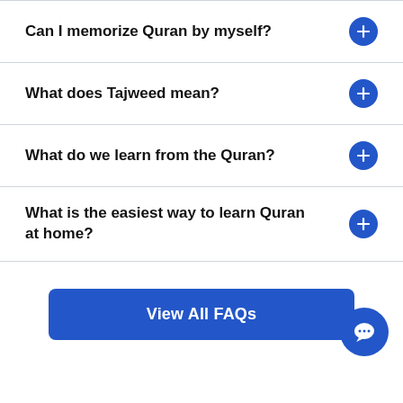Can I memorize Quran by myself?
What does Tajweed mean?
What do we learn from the Quran?
What is the easiest way to learn Quran at home?
View All FAQs